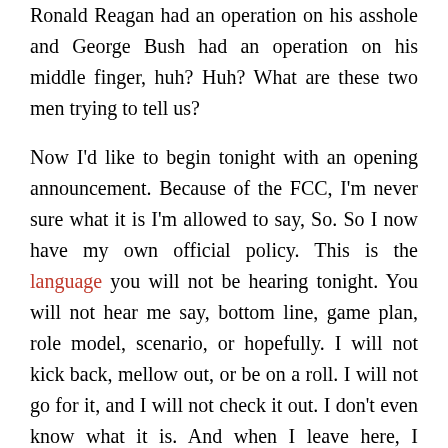Ronald Reagan had an operation on his asshole and George Bush had an operation on his middle finger, huh? Huh? What are these two men trying to tell us?
Now I'd like to begin tonight with an opening announcement. Because of the FCC, I'm never sure what it is I'm allowed to say, So. So I now have my own official policy. This is the language you will not be hearing tonight. You will not hear me say, bottom line, game plan, role model, scenario, or hopefully. I will not kick back, mellow out, or be on a roll. I will not go for it, and I will not check it out. I don't even know what it is. And when I leave here, I definitely will not boogie. I promise not to refer to anyone as a class act, a